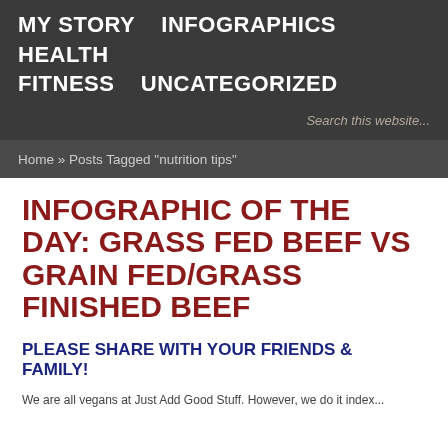MY STORY   INFOGRAPHICS   HEALTH   FITNESS   UNCATEGORIZED
Search this website...
Home » Posts Tagged "nutrition tips"
INFOGRAPHIC OF THE DAY: GRASS FED BEEF VS GRAIN FED/GRASS FINISHED BEEF
PLEASE SHARE WITH YOUR FRIENDS & FAMILY!
We are all vegans at Just Add Good Stuff. However, we do it index...